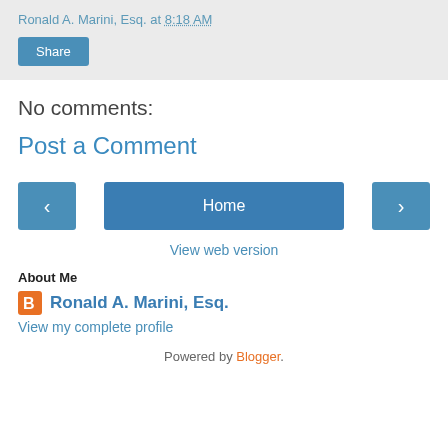Ronald A. Marini, Esq. at 8:18 AM
Share
No comments:
Post a Comment
< Home >
View web version
About Me
Ronald A. Marini, Esq.
View my complete profile
Powered by Blogger.